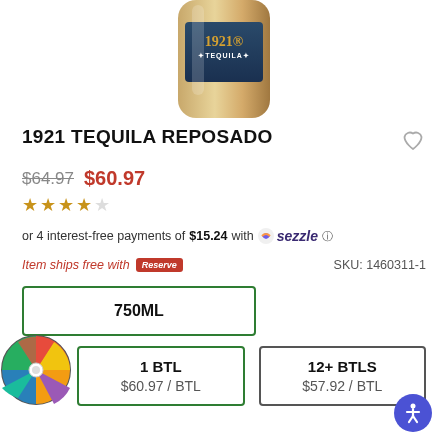[Figure (photo): Product photo of 1921 Tequila Reposado bottle, partially cropped at top]
1921 TEQUILA REPOSADO
$64.97  $60.97
4 out of 5 stars rating
or 4 interest-free payments of $15.24 with Sezzle
Item ships free with Reserve  SKU: 1460311-1
750ML
1 BTL
$60.97 / BTL
12+ BTLS
$57.92 / BTL